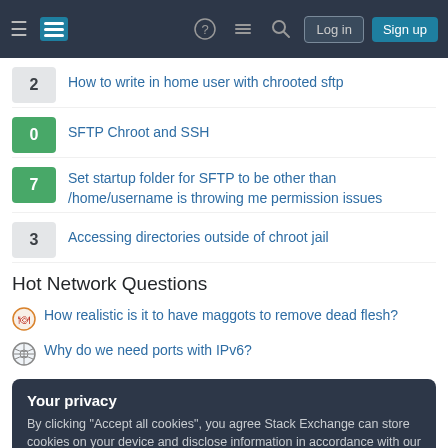Stack Exchange navigation bar with Log in and Sign up buttons
2  How to write in home user with chrooted sftp
0  SFTP Chroot and SSH
7  Set startup folder for SFTP to be other than /home/username is throwing me permission issues
3  Accessing directories outside of chroot jail
Hot Network Questions
How realistic is it to have maggots to remove dead flesh?
Why do we need ports with IPv6?
Your privacy
By clicking "Accept all cookies", you agree Stack Exchange can store cookies on your device and disclose information in accordance with our Cookie Policy.
Bonding in hypervalent molecules